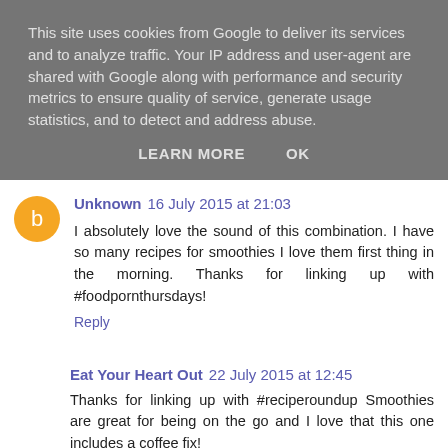This site uses cookies from Google to deliver its services and to analyze traffic. Your IP address and user-agent are shared with Google along with performance and security metrics to ensure quality of service, generate usage statistics, and to detect and address abuse.
LEARN MORE    OK
Unknown  16 July 2015 at 21:03
I absolutely love the sound of this combination. I have so many recipes for smoothies I love them first thing in the morning. Thanks for linking up with #foodpornthursdays!
Reply
Eat Your Heart Out  22 July 2015 at 12:45
Thanks for linking up with #reciperoundup Smoothies are great for being on the go and I love that this one includes a coffee fix!
Reply